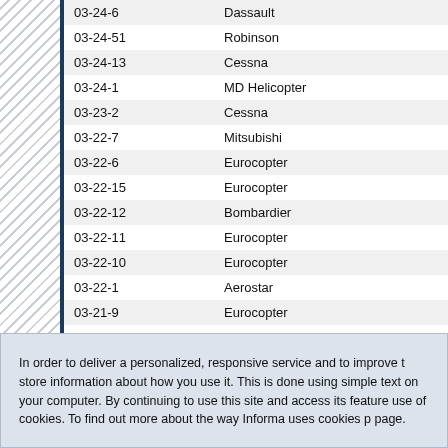| Code | Manufacturer |
| --- | --- |
| 03-24-6 | Dassault |
| 03-24-51 | Robinson |
| 03-24-13 | Cessna |
| 03-24-1 | MD Helicopter |
| 03-23-2 | Cessna |
| 03-22-7 | Mitsubishi |
| 03-22-6 | Eurocopter |
| 03-22-15 | Eurocopter |
| 03-22-12 | Bombardier |
| 03-22-11 | Eurocopter |
| 03-22-10 | Eurocopter |
| 03-22-1 | Aerostar |
| 03-21-9 | Eurocopter |
| 03-21-7 | Cessna |
| 03-21-4 | Cessna |
| 03-21-1 | Univair |
| 03-20-15 | Pilatus |
| 03-20-12 | Eurocopter |
| 03-20-11 | Eurocopter |
In order to deliver a personalized, responsive service and to improve t store information about how you use it. This is done using simple text on your computer. By continuing to use this site and access its feature use of cookies. To find out more about the way Informa uses cookies p page.